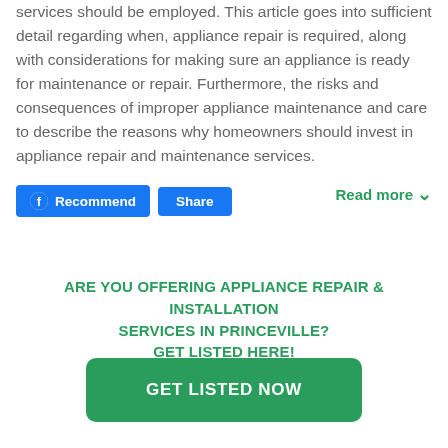services should be employed. This article goes into sufficient detail regarding when, appliance repair is required, along with considerations for making sure an appliance is ready for maintenance or repair. Furthermore, the risks and consequences of improper appliance maintenance and care to describe the reasons why homeowners should invest in appliance repair and maintenance services.
Recommend | Share | Read more
ARE YOU OFFERING APPLIANCE REPAIR & INSTALLATION SERVICES IN PRINCEVILLE? GET LISTED HERE!
GET LISTED NOW